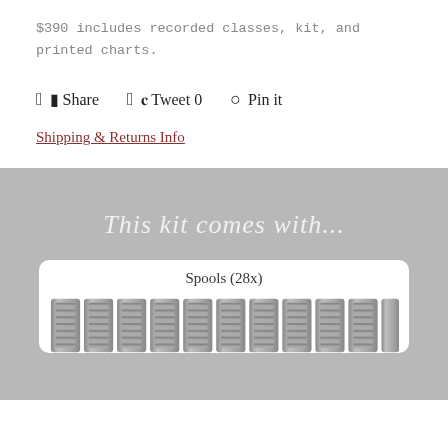$390 includes recorded classes, kit, and printed charts.
Share
Tweet 0
Pin it
Shipping & Returns Info
This kit comes with...
Spools (28x)
[Figure (photo): Row of thread spools shown at the bottom of a product card]